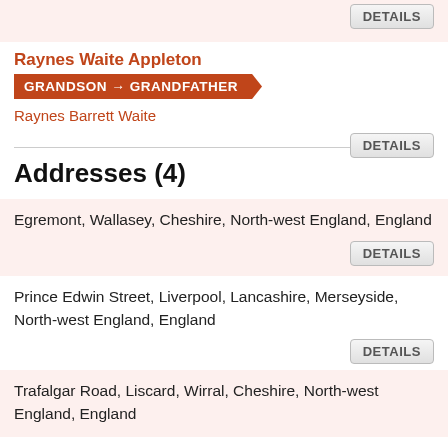DETAILS
Raynes Waite Appleton
GRANDSON → GRANDFATHER
Raynes Barrett Waite
DETAILS
Addresses (4)
Egremont, Wallasey, Cheshire, North-west England, England
DETAILS
Prince Edwin Street, Liverpool, Lancashire, Merseyside, North-west England, England
DETAILS
Trafalgar Road, Liscard, Wirral, Cheshire, North-west England, England